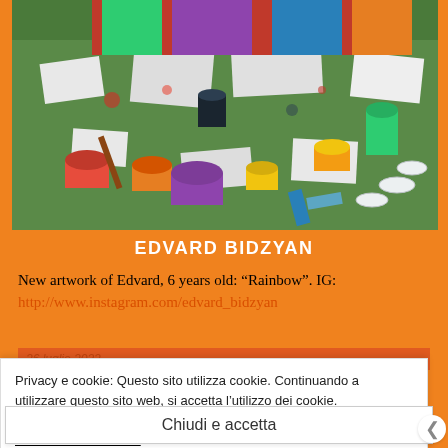[Figure (photo): Art workspace with colorful paint jars (red, orange, yellow, purple, blue, green), brushes, paint tubes, and colorful painted canvases spread on a green surface. Visible artwork includes abstract rainbow-colored painting.]
EDVARD BIDZYAN
New artwork of Edvard, 6 years old: “Rainbow”. IG:
http://www.instagram.com/edvard_bidzyan
26 luglio 2022
Privacy e cookie: Questo sito utilizza cookie. Continuando a utilizzare questo sito web, si accetta l’utilizzo dei cookie.
Per ulteriori informazioni, anche sul controllo dei cookie, leggi qui:
Informativa sui cookie
Chiudi e accetta